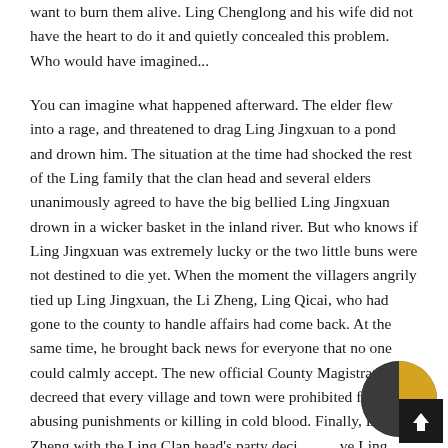want to burn them alive. Ling Chenglong and his wife did not have the heart to do it and quietly concealed this problem. Who would have imagined...
You can imagine what happened afterward. The elder flew into a rage, and threatened to drag Ling Jingxuan to a pond and drown him. The situation at the time had shocked the rest of the Ling family that the clan head and several elders unanimously agreed to have the big bellied Ling Jingxuan drown in a wicker basket in the inland river. But who knows if Ling Jingxuan was extremely lucky or the two little buns were not destined to die yet. When the moment the villagers angrily tied up Ling Jingxuan, the Li Zheng, Ling Qicai, who had gone to the county to handle affairs had come back. At the same time, he brought back news for everyone that no one could calmly accept. The new official County Magistrate Hu decreed that every village and town were prohibited from abusing punishments or killing in cold blood. Finally, Li Zheng with the Ling Clan head's party decided to have Ling Jingxuan expelled from Ling Qiyun's branch and exiled far from the village to the foot of Yuehua mountain. As for whether he could survive or not, would depend on his own luck.
[Figure (other): A scroll-to-top UI button with a pie/donut chart icon (dark grey, gold, and black segments) and an upward arrow symbol on black background circle.]